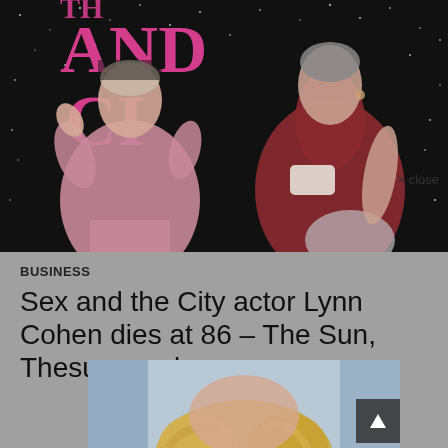[Figure (photo): Two women posing in front of a Sex and the City backdrop/banner with pink lettering on dark sparkly background. Left person wears pink jacket, right person wears red/maroon sleeveless dress.]
× close
BUSINESS
Sex and the City actor Lynn Cohen dies at 86 – The Sun, Thesun.co.uk
[Figure (photo): Partial photo of a blonde person, cropped, visible only at the bottom of the page.]